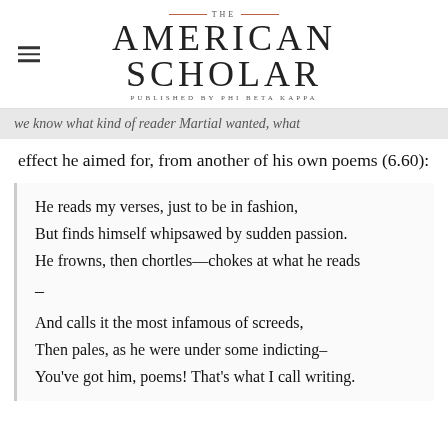THE AMERICAN SCHOLAR — PUBLISHED BY PHI BETA KAPPA
we know what kind of reader Martial wanted, what effect he aimed for, from another of his own poems (6.60):
He reads my verses, just to be in fashion,
But finds himself whipsawed by sudden passion.
He frowns, then chortles—chokes at what he reads
—
And calls it the most infamous of screeds,
Then pales, as he were under some indicting—
You've got him, poems! That's what I call writing.